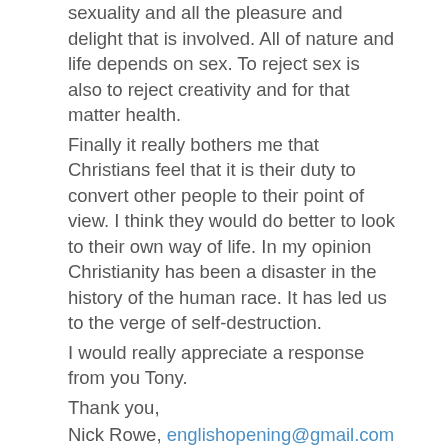sexuality and all the pleasure and delight that is involved. All of nature and life depends on sex. To reject sex is also to reject creativity and for that matter health.
Finally it really bothers me that Christians feel that it is their duty to convert other people to their point of view. I think they would do better to look to their own way of life. In my opinion Christianity has been a disaster in the history of the human race. It has led us to the verge of self-destruction.
I would really appreciate a response from you Tony.
Thank you,
Nick Rowe, englishopening@gmail.com